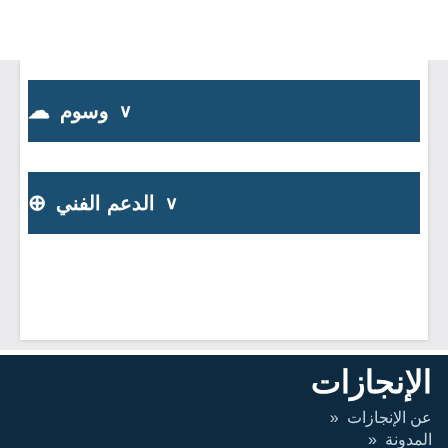[Figure (logo): Hexagonal honeycomb pattern logo in gray]
[Figure (other): Teal hamburger menu button with three white lines]
وسوم ☁ ∨
الدعم الفني ⊕ ∨
الإنجازات
« عن الإنجازات
« المدونة